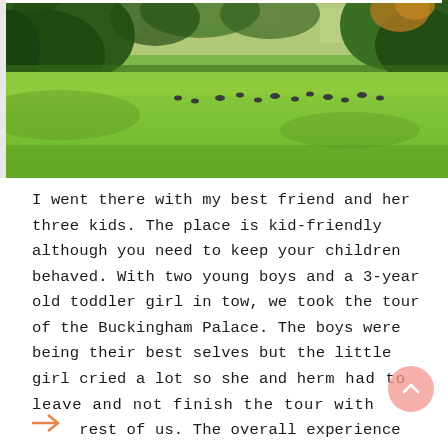[Figure (photo): Outdoor park or estate with wide green lawn, trees along the top edge, and birds scattered across the grass in the background.]
I went there with my best friend and her three kids. The place is kid-friendly although you need to keep your children behaved. With two young boys and a 3-year old toddler girl in tow, we took the tour of the Buckingham Palace. The boys were being their best selves but the little girl cried a lot so she and her m had to leave and not finish the tour with rest of us. The overall experience was